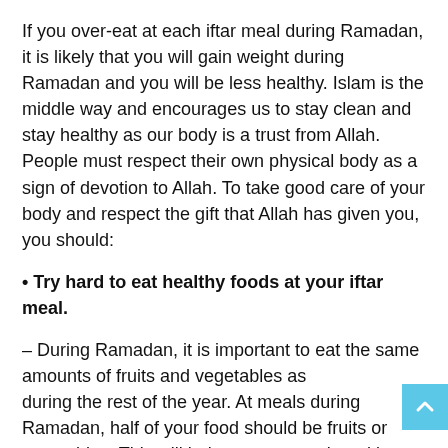If you over-eat at each iftar meal during Ramadan, it is likely that you will gain weight during Ramadan and you will be less healthy. Islam is the middle way and encourages us to stay clean and stay healthy as our body is a trust from Allah. People must respect their own physical body as a sign of devotion to Allah. To take good care of your body and respect the gift that Allah has given you, you should:
• Try hard to eat healthy foods at your iftar meal.
– During Ramadan, it is important to eat the same amounts of fruits and vegetables as during the rest of the year. At meals during Ramadan, half of your food should be fruits or vegetables. This will help you get good nutrition, stay less hungry, avoid constipation, and is an important way to take good care of your body as a sign of devotion to Allah.